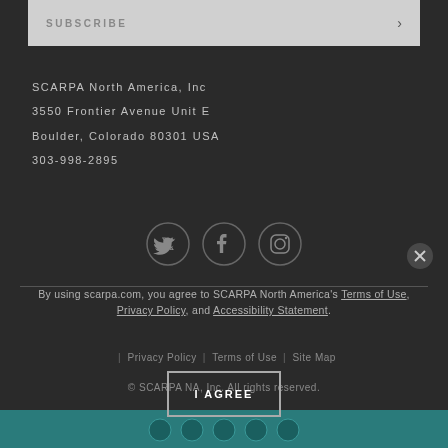SUBSCRIBE
SCARPA North America, Inc
3550 Frontier Avenue Unit E
Boulder, Colorado 80301 USA
303-998-2895
[Figure (illustration): Three social media icons in dark circles: Twitter, Facebook, Instagram]
By using scarpa.com, you agree to SCARPA North America's Terms of Use, Privacy Policy, and Accessibility Statement.
| Privacy Policy  |  Terms of Use  |  Site Map
I AGREE
© SCARPA NA, Inc. All rights reserved.